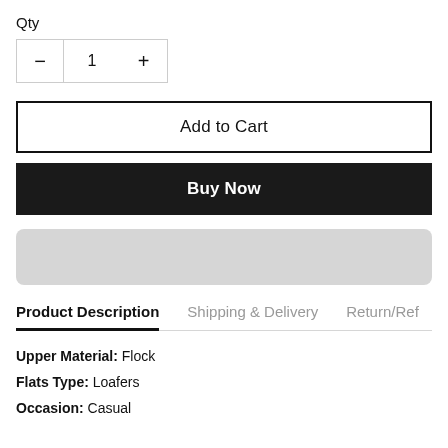Qty
- 1 +
Add to Cart
Buy Now
[Figure (other): Gray rounded rectangle placeholder bar]
Product Description | Shipping & Delivery | Return/Ref
Upper Material: Flock
Flats Type: Loafers
Occasion: Casual